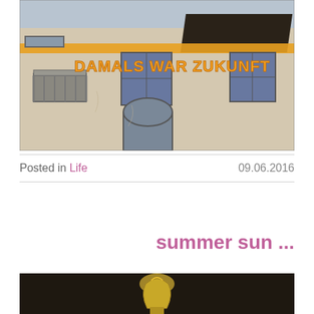[Figure (photo): Photograph of a building facade/courtyard with orange 3D text reading 'DAMALS WAR ZUKUNFT' mounted on the wall, with balconies, arched doorway, and windows visible. An orange horizontal bar runs across the upper portion.]
Posted in Life   09.06.2016
summer sun ...
[Figure (photo): Partial bottom photo showing a dark background with what appears to be a gold/metallic sculpture or object.]